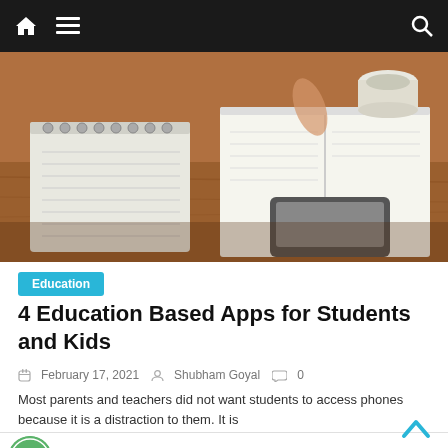Navigation bar with home, menu, and search icons
[Figure (photo): Photo of a student studying at a desk with notebooks, a coffee cup, and a smartphone on a wooden table]
Education
4 Education Based Apps for Students and Kids
February 17, 2021  Shubham Goyal  0
Most parents and teachers did not want students to access phones because it is a distraction to them. It is
3 Major Mistakes That You Should Not